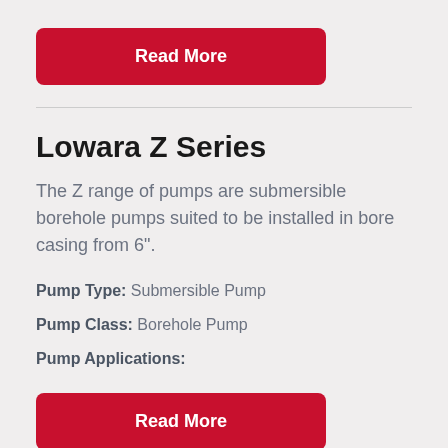Read More
Lowara Z Series
The Z range of pumps are submersible borehole pumps suited to be installed in bore casing from 6".
Pump Type: Submersible Pump
Pump Class: Borehole Pump
Pump Applications:
Read More